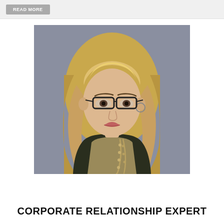[Figure (photo): Professional headshot of a blonde woman with long wavy hair, wearing glasses, a dark turtleneck, a patterned top, and a long beaded necklace. Background is grey studio backdrop.]
CORPORATE RELATIONSHIP EXPERT